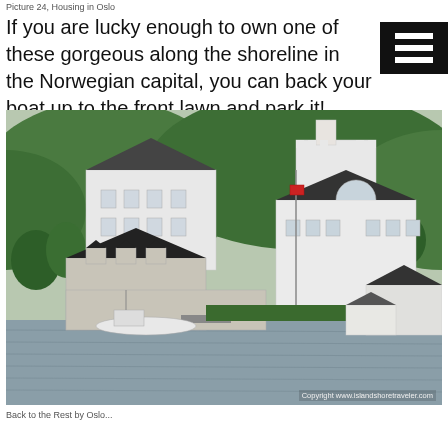Picture 24, Housing in Oslo
If you are lucky enough to own one of these gorgeous along the shoreline in the Norwegian capital, you can back your boat up to the front lawn and park it!
[Figure (photo): Large white mansions and villas along the shoreline in Oslo, Norway, viewed from the water. Multiple white buildings of various architectural styles set against green tree-covered hills. A boat is moored at the waterfront. Copyright www.islandshoretraveler.com]
Copyright www.islandshoretraveler.com
Back to the Rest by Oslo...